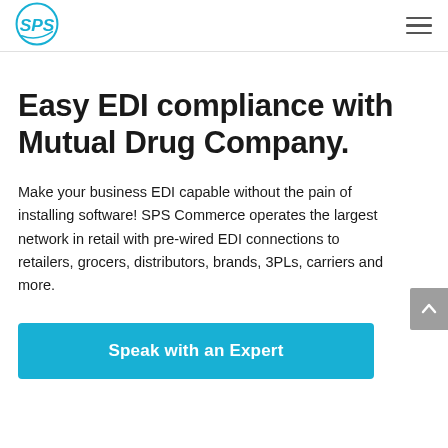SPS Commerce logo and navigation menu
Easy EDI compliance with Mutual Drug Company.
Make your business EDI capable without the pain of installing software! SPS Commerce operates the largest network in retail with pre-wired EDI connections to retailers, grocers, distributors, brands, 3PLs, carriers and more.
Speak with an Expert